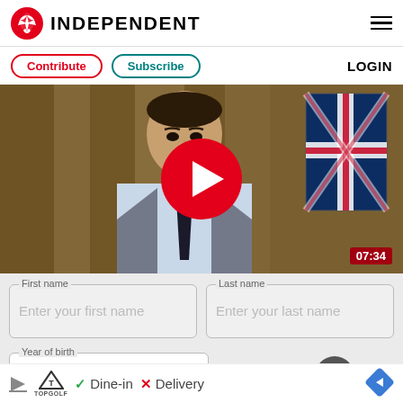INDEPENDENT
Contribute | Subscribe | LOGIN
[Figure (screenshot): Video thumbnail of a man in a suit and tie with a Union Jack flag behind him, with a large red play button overlay and a timestamp of 07:34 in the bottom right corner.]
First name — Enter your first name
Last name — Enter your last name
Year of birth — Select your year of birth